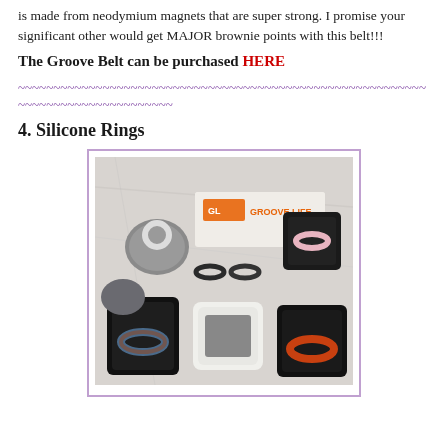is made from neodymium magnets that are super strong. I promise your significant other would get MAJOR brownie points with this belt!!!
The Groove Belt can be purchased HERE
~~~~~~~~~~~~~~~~~~~~~~~~~~~~~~~~~~~~~~~~~~~~~~~~~~~~~~~~~~~~~~~~~~~~~~~~~~~~~~~~
4. Silicone Rings
[Figure (photo): Photo showing multiple Groove Life silicone rings displayed in black ring boxes on a marble surface, with a Groove Life branded card in the background.]